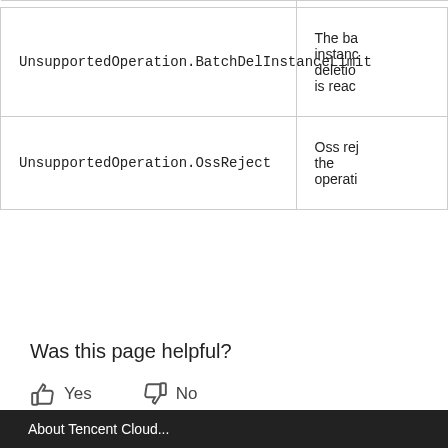| Error Code | Description |
| --- | --- |
| UnsupportedOperation.BatchDelInstanceLimit | The ba instanc deletio is reac |
| UnsupportedOperation.OssReject | Oss rej the operati |
Was this page helpful?
You can also Contact Sales or Submit a Ticket for help.
About Tencent Cloud...